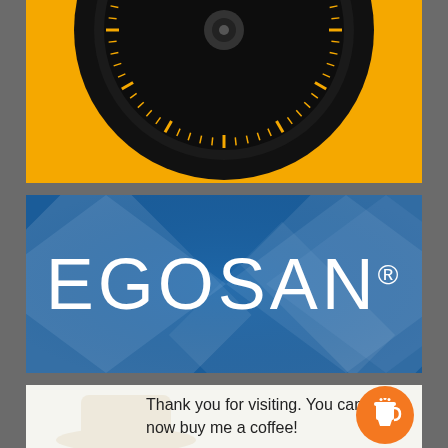[Figure (illustration): Top yellow/gold banner with a black combination safe dial partially visible at the top center, showing gold/yellow tick marks and numbers on a black circular dial]
[Figure (logo): EGOSAN brand logo in white text on a blue gradient background with decorative translucent diamond/rhombus geometric shapes. The registered trademark symbol appears after the N.]
Thank you for visiting. You can now buy me a coffee!
[Figure (illustration): Orange circular coffee cup button icon in bottom right corner]